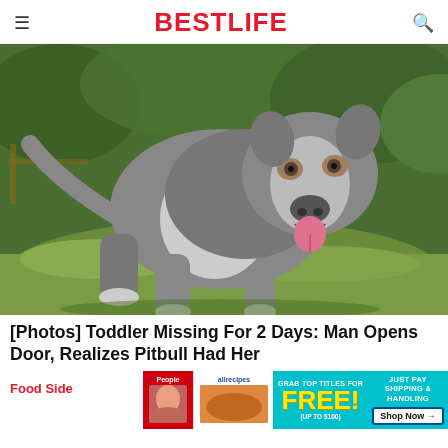BESTLIFE
[Figure (photo): A large gray and white pitbull dog standing on green grass outdoors, mouth open and tongue out, looking at the camera]
[Photos] Toddler Missing For 2 Days: Man Opens Door, Realizes Pitbull Had Her
Food Side
[Figure (infographic): Advertisement banner: People and allrecipes magazines promotion. 'GRAB TOP TITLES FOR FREE! (UP TO $100)' 'JUST PAY SHIPPING & HANDLING' 'Shop Now →']